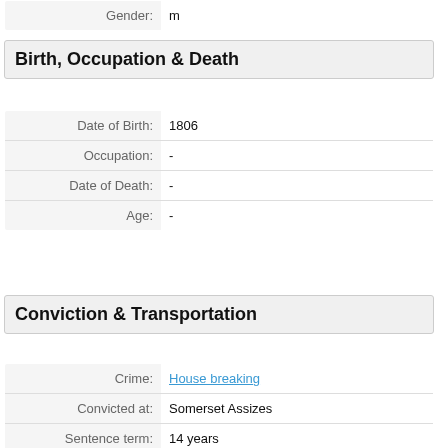| Gender: | m |
Birth, Occupation & Death
| Date of Birth: | 1806 |
| Occupation: | - |
| Date of Death: | - |
| Age: | - |
Conviction & Transportation
| Crime: | House breaking |
| Convicted at: | Somerset Assizes |
| Sentence term: | 14 years |